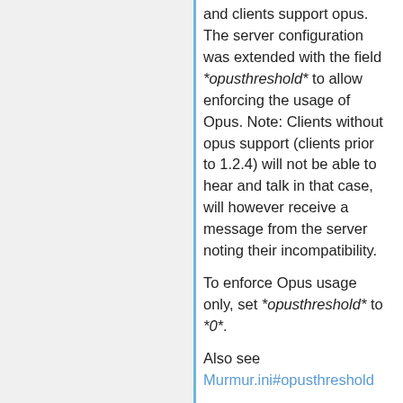and clients support opus. The server configuration was extended with the field *opusthreshold* to allow enforcing the usage of Opus. Note: Clients without opus support (clients prior to 1.2.4) will not be able to hear and talk in that case, will however receive a message from the server noting their incompatibility.
To enforce Opus usage only, set *opusthreshold* to *0*.
Also see Murmur.ini#opusthreshold
Why does Murmur require a GUI / Qt on Linux?